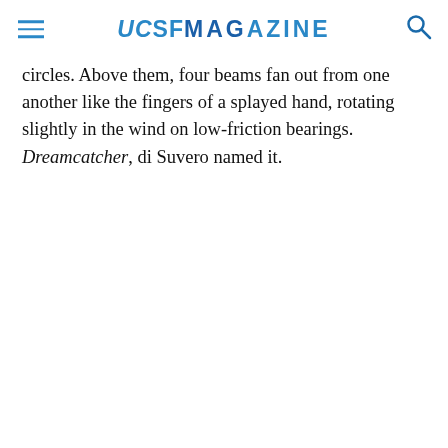UCSF MAGAZINE
circles. Above them, four beams fan out from one another like the fingers of a splayed hand, rotating slightly in the wind on low-friction bearings. Dreamcatcher, di Suvero named it.